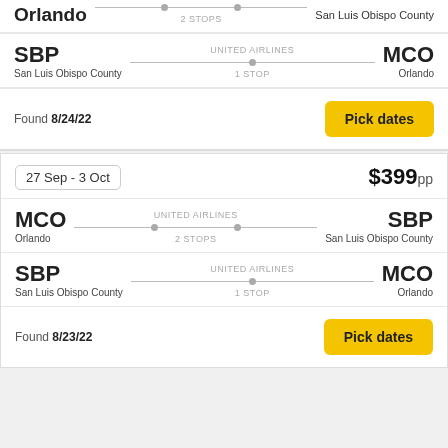Orlando → San Luis Obispo County via 2 STOPS (United Airlines, top partial card)
SBP San Luis Obispo County → MCO Orlando, UNITED AIRLINES, 1 STOP
Found 8/24/22
Pick dates
27 Sep - 3 Oct
$399pp
MCO Orlando → SBP San Luis Obispo County, UNITED AIRLINES, 2 STOPS
SBP San Luis Obispo County → MCO Orlando, UNITED AIRLINES, 1 STOP
Found 8/23/22
Pick dates